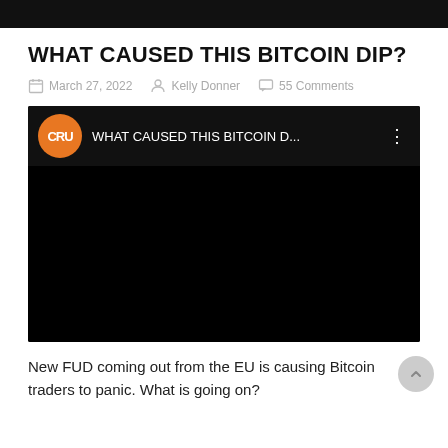WHAT CAUSED THIS BITCOIN DIP?
March 27, 2022  Kelly Donner  55 Comments
[Figure (screenshot): Embedded YouTube video thumbnail with black background. Channel logo (orange circle with 'CRU' monogram) visible in top bar. Video title: 'WHAT CAUSED THIS BITCOIN D...' with three-dot menu icon.]
New FUD coming out from the EU is causing Bitcoin traders to panic. What is going on?